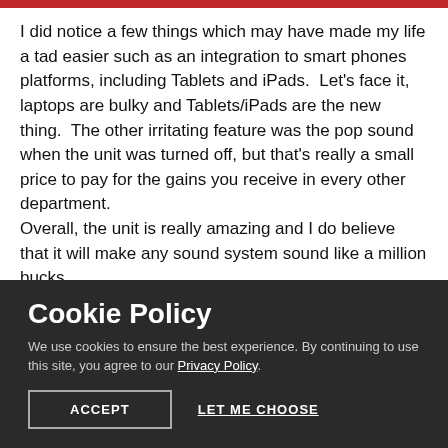I did notice a few things which may have made my life a tad easier such as an integration to smart phones platforms, including Tablets and iPads.  Let's face it, laptops are bulky and Tablets/iPads are the new thing.  The other irritating feature was the pop sound when the unit was turned off, but that's really a small price to pay for the gains you receive in every other department.
Overall, the unit is really amazing and I do believe that it will make any sound system sound like a million bucks.
Cookie Policy
We use cookies to ensure the best experience. By continuing to use this site, you agree to our Privacy Policy.